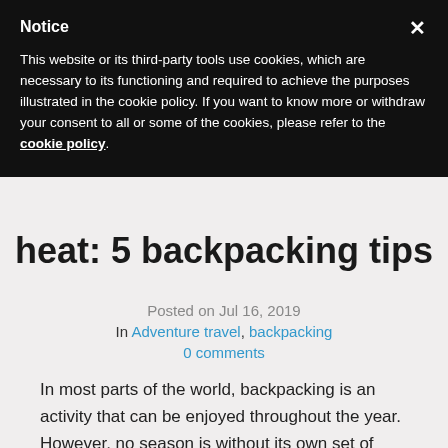Notice
This website or its third-party tools use cookies, which are necessary to its functioning and required to achieve the purposes illustrated in the cookie policy. If you want to know more or withdraw your consent to all or some of the cookies, please refer to the cookie policy.
heat: 5 backpacking tips
Posted on Jul 16, 2019
In Adventure travel, backpacking
0 comments
In most parts of the world, backpacking is an activity that can be enjoyed throughout the year. However, no season is without its own set of challenges. In the case of summer, heat and dryness are your biggest obstacles, quickly making even the most scenic and relaxing trip a